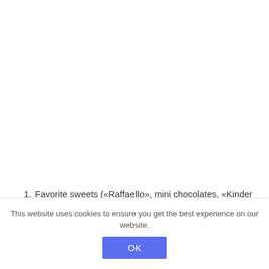1. Favorite sweets («Raffaello», mini chocolates, «Kinder surprises» etc.)
This website uses cookies to ensure you get the best experience on our website.
OK